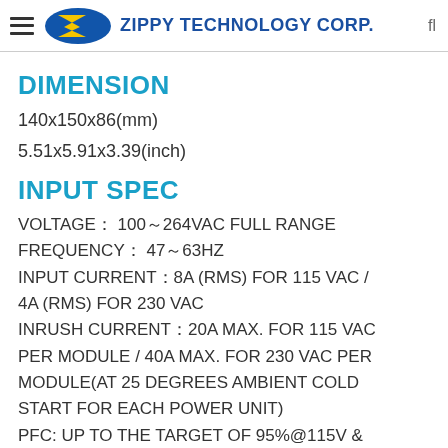ZIPPY TECHNOLOGY CORP.
DIMENSION
140x150x86(mm)
5.51x5.91x3.39(inch)
INPUT SPEC
VOLTAGE： 100～264VAC FULL RANGE FREQUENCY： 47～63HZ INPUT CURRENT：8A (RMS) FOR 115 VAC / 4A (RMS) FOR 230 VAC INRUSH CURRENT：20A MAX. FOR 115 VAC PER MODULE / 40A MAX. FOR 230 VAC PER MODULE(AT 25 DEGREES AMBIENT COLD START FOR EACH POWER UNIT) PFC: UP TO THE TARGET OF 95%@115V &